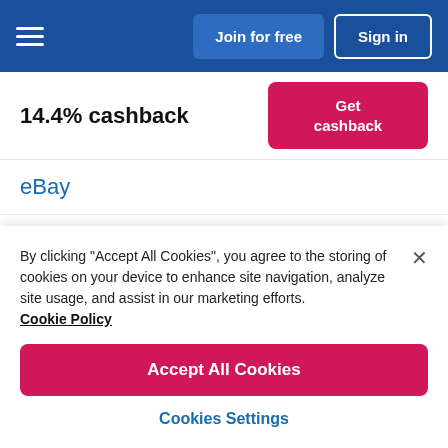Join for free | Sign in
14.4% cashback
Get cashback
eBay
Argos
Boots
Currys PC World
By clicking "Accept All Cookies", you agree to the storing of cookies on your device to enhance site navigation, analyze site usage, and assist in our marketing efforts. Cookie Policy
Accept All Cookies
Cookies Settings